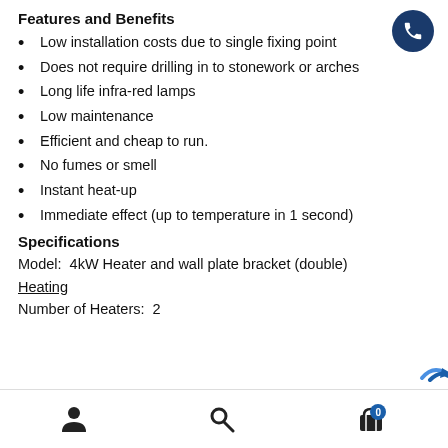Features and Benefits
Low installation costs due to single fixing point
Does not require drilling in to stonework or arches
Long life infra-red lamps
Low maintenance
Efficient and cheap to run.
No fumes or smell
Instant heat-up
Immediate effect (up to temperature in 1 second)
Specifications
Model:  4kW Heater and wall plate bracket (double)
Heating
Number of Heaters:  2